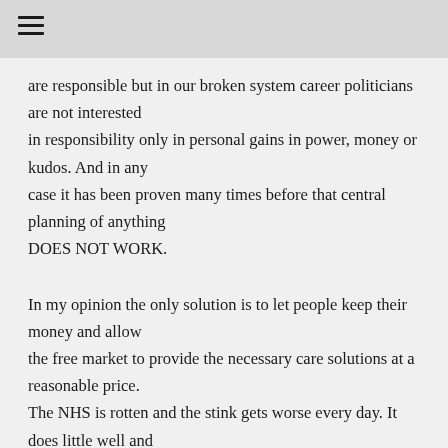≡
are responsible but in our broken system career politicians are not interested in responsibility only in personal gains in power, money or kudos. And in any case it has been proven many times before that central planning of anything DOES NOT WORK.
In my opinion the only solution is to let people keep their money and allow the free market to provide the necessary care solutions at a reasonable price. The NHS is rotten and the stink gets worse every day. It does little well and does many things so badly that it ruins the lives of patients and medical staff alike.